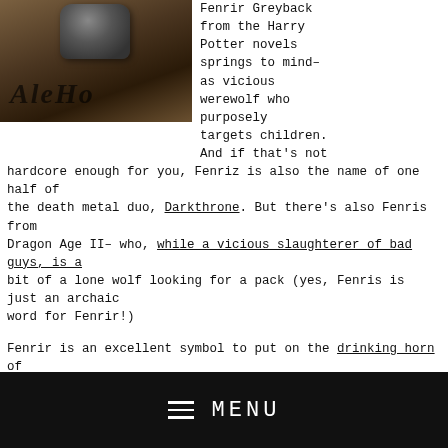[Figure (photo): Photo of a drinking horn or cup on a surface with text 'AleHo' visible below it]
Fenrir Greyback from the Harry Potter novels springs to mind– as vicious werewolf who purposely targets children. And if that's not hardcore enough for you, Fenriz is also the name of one half of the death metal duo, Darkthrone. But there's also Fenris from Dragon Age II– who, while a vicious slaughterer of bad guys, is a bit of a lone wolf looking for a pack (yes, Fenris is just an archaic word for Fenrir!)
Fenrir is an excellent symbol to put on the drinking horn of someone who has faced a lot of troubles and risen above them. Whether it's someone who's broken out of an abusive relationship and risen in the pack hierarchy to tend to their own needs, or
MENU